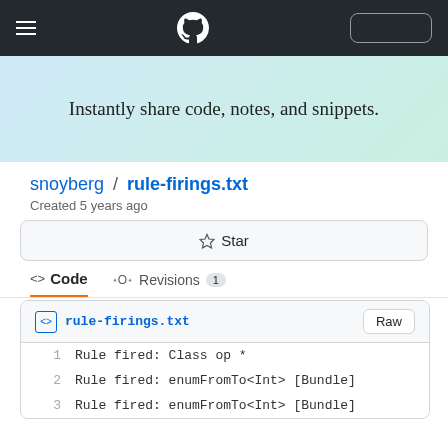GitHub Gist navigation bar with hamburger menu, GitHub logo, and a button
Instantly share code, notes, and snippets.
snoyberg / rule-firings.txt
Created 5 years ago
☆ Star
<> Code   Revisions 1
rule-firings.txt   Raw
| line | code |
| --- | --- |
| 1 | Rule fired: Class op * |
| 2 | Rule fired: enumFromTo<Int> [Bundle] |
| 3 | Rule fired: enumFromTo<Int> [Bundle] |